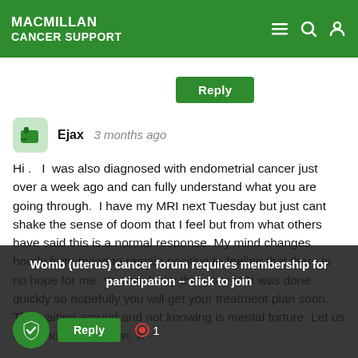MACMILLAN CANCER SUPPORT
Reply
Ejax   3 months ago
Hi .  I  was also diagnosed with endometrial cancer just over a week ago and can fully understand what you are going through.  I have my MRI next Tuesday but just cant shake the sense of doom that I feel but from what others have said this is a normal response. My mind changes hourly from trying to remain positive to feeling that there is no hope for me. You are lucky that your MRI was done quickly so hopefully you will get your treatment plan soon. The waiting around and not knowing is mental torture. Let us know how you get on. X
Womb (uterus) cancer forum requires membership for participation – click to join
Reply   1